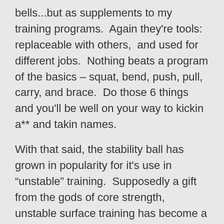bells...but as supplements to my training programs. Again they're tools: replaceable with others, and used for different jobs. Nothing beats a program of the basics – squat, bend, push, pull, carry, and brace. Do those 6 things and you'll be well on your way to kickin a** and takin names.
With that said, the stability ball has grown in popularity for it's use in “unstable” training. Supposedly a gift from the gods of core strength, unstable surface training has become a fad all of its own. There is certainly a time and place for unstable training, but it's not going to do wonders. And you'll always be stronger on a firm surface. Don't neglect strength.
Wrapping up our articles this week is a blog post by